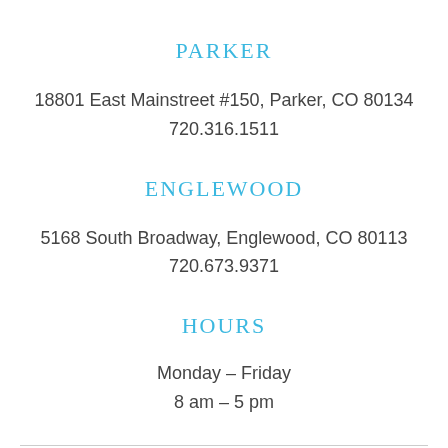PARKER
18801 East Mainstreet #150, Parker, CO 80134
720.316.1511
ENGLEWOOD
5168 South Broadway, Englewood, CO 80113
720.673.9371
HOURS
Monday – Friday
8 am – 5 pm
SERVICES    PATIENT FORMS    BLOG